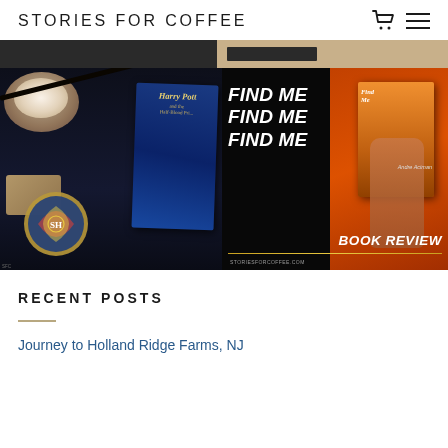STORIES FOR COFFEE
[Figure (photo): Two-column image grid: left shows Harry Potter and the Half-Blood Prince book with Hogwarts crest on dark fabric, wand, and baked goods on a plate; right shows a book review promotional image for 'Find Me' by Andre Aciman with bold italic text and orange/black design, storiesforcoffee.com]
RECENT POSTS
Journey to Holland Ridge Farms, NJ